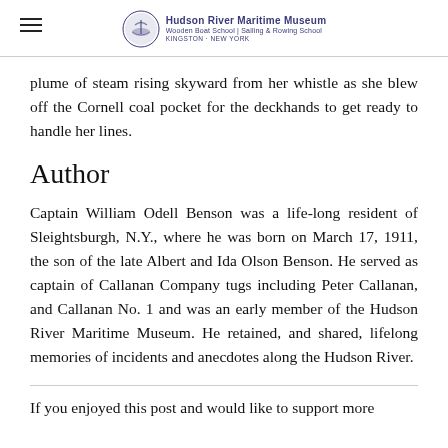Hudson River Maritime Museum · Wooden Boat School | Sailing & Rowing School · Kingston, New York
plume of steam rising skyward from her whistle as she blew off the Cornell coal pocket for the deckhands to get ready to handle her lines.
Author
Captain William Odell Benson was a life-long resident of Sleightsburgh, N.Y., where he was born on March 17, 1911, the son of the late Albert and Ida Olson Benson. He served as captain of Callanan Company tugs including Peter Callanan, and Callanan No. 1 and was an early member of the Hudson River Maritime Museum. He retained, and shared, lifelong memories of incidents and anecdotes along the Hudson River.
If you enjoyed this post and would like to support more